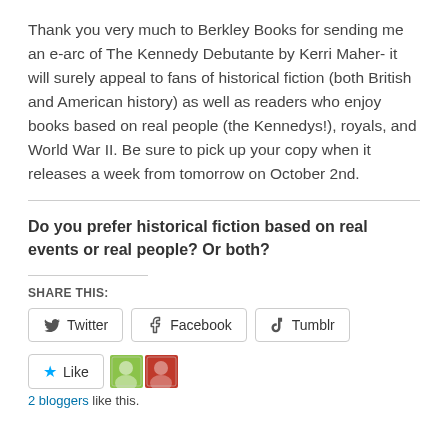Thank you very much to Berkley Books for sending me an e-arc of The Kennedy Debutante by Kerri Maher- it will surely appeal to fans of historical fiction (both British and American history) as well as readers who enjoy books based on real people (the Kennedys!), royals, and World War II. Be sure to pick up your copy when it releases a week from tomorrow on October 2nd.
Do you prefer historical fiction based on real events or real people? Or both?
SHARE THIS:
[Figure (screenshot): Share buttons for Twitter, Facebook, and Tumblr]
[Figure (screenshot): Like button with star icon and two blogger avatars, with '2 bloggers like this.' text]